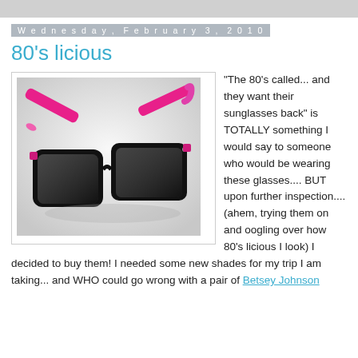Wednesday, February 3, 2010
80's licious
[Figure (photo): Black wayfarer-style sunglasses with hot pink/magenta temple arms, photographed on a light grey background from a slightly elevated angle showing both lenses and arms.]
"The 80's called... and they want their sunglasses back" is TOTALLY something I would say to someone who would be wearing these glasses.... BUT upon further inspection.... (ahem, trying them on and oogling over how 80's licious I look) I decided to buy them! I needed some new shades for my trip I am taking... and WHO could go wrong with a pair of Betsey Johnson